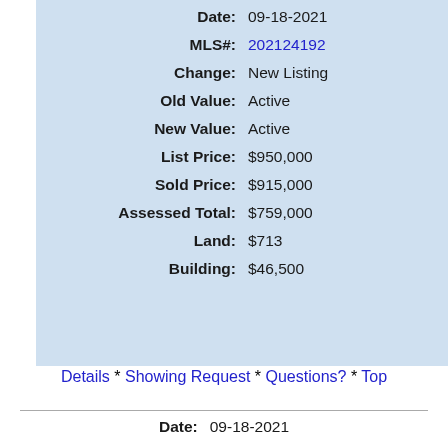| Field | Value |
| --- | --- |
| Date: | 09-18-2021 |
| MLS#: | 202124192 |
| Change: | New Listing |
| Old Value: | Active |
| New Value: | Active |
| List Price: | $950,000 |
| Sold Price: | $915,000 |
| Assessed Total: | $759,000 |
| Land: | $713 |
| Building: | $46,500 |
Details * Showing Request * Questions? * Top
| Field | Value |
| --- | --- |
| Date: | 09-18-2021 |